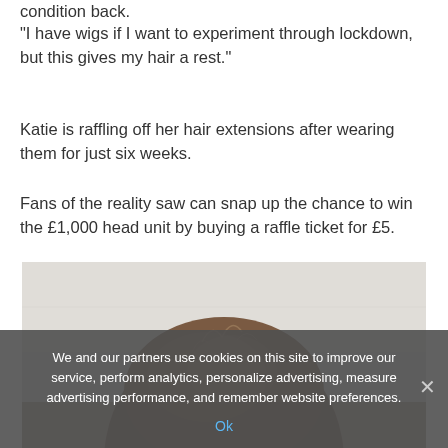condition back.
"I have wigs if I want to experiment through lockdown, but this gives my hair a rest."
Katie is raffling off her hair extensions after wearing them for just six weeks.
Fans of the reality saw can snap up the chance to win the £1,000 head unit by buying a raffle ticket for £5.
[Figure (photo): Close-up photo of a person showing the top of their head with short natural hair, against a light background.]
We and our partners use cookies on this site to improve our service, perform analytics, personalize advertising, measure advertising performance, and remember website preferences.
Ok